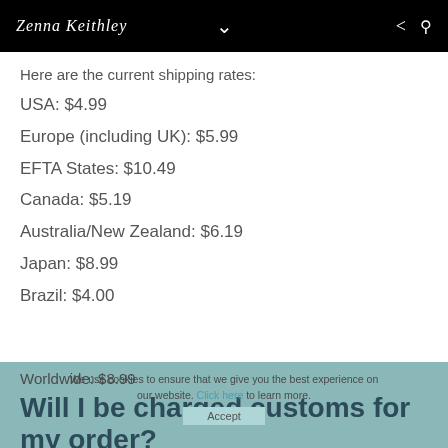Zenna Keithley
Here are the current shipping rates:
USA: $4.99
Europe (including UK): $5.99
EFTA States: $10.49
Canada: $5.19
Australia/New Zealand: $6.19
Japan: $8.99
Brazil: $4.00
Worldwide: $8.99
We use cookies to ensure that we give you the best experience on our website. Click here to learn more.
Will I be charged customs for my order?